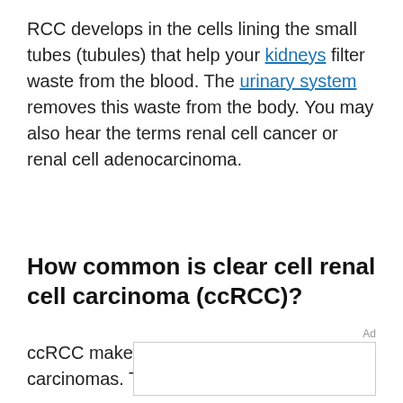RCC develops in the cells lining the small tubes (tubules) that help your kidneys filter waste from the blood. The urinary system removes this waste from the body. You may also hear the terms renal cell cancer or renal cell adenocarcinoma.
How common is clear cell renal cell carcinoma (ccRCC)?
ccRCC makes up about 8 in 10 renal cell carcinomas. This makes ccRCC the most
Ad